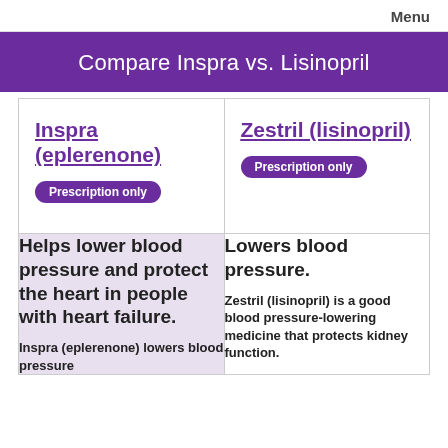Menu
Compare Inspra vs. Lisinopril
| Inspra (eplerenone) | Zestril (lisinopril) |
| --- | --- |
| Prescription only | Prescription only |
| Helps lower blood pressure and protect the heart in people with heart failure.
Inspra (eplerenone) lowers blood pressure | Lowers blood pressure.
Zestril (lisinopril) is a good blood pressure-lowering medicine that protects kidney function. |